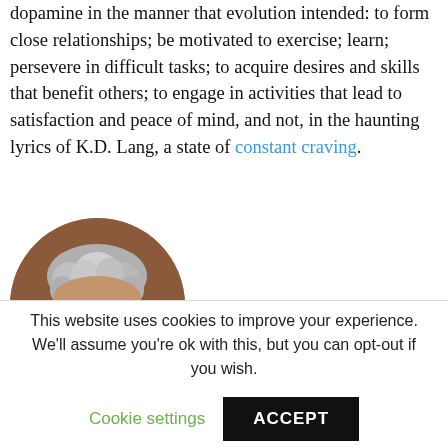dopamine in the manner that evolution intended: to form close relationships; be motivated to exercise; learn; persevere in difficult tasks; to acquire desires and skills that benefit others; to engage in activities that lead to satisfaction and peace of mind, and not, in the haunting lyrics of K.D. Lang, a state of constant craving.
[Figure (photo): Circular portrait photo of an older man with grey curly hair, glasses, and a light blue shirt, against a brown background.]
This website uses cookies to improve your experience. We'll assume you're ok with this, but you can opt-out if you wish.
Cookie settings   ACCEPT